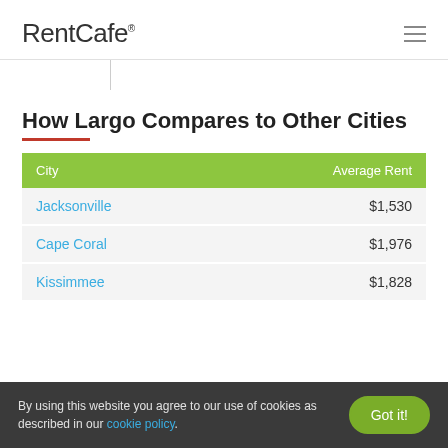RentCafe
How Largo Compares to Other Cities
| City | Average Rent |
| --- | --- |
| Jacksonville | $1,530 |
| Cape Coral | $1,976 |
| Kissimmee | $1,828 |
By using this website you agree to our use of cookies as described in our cookie policy.